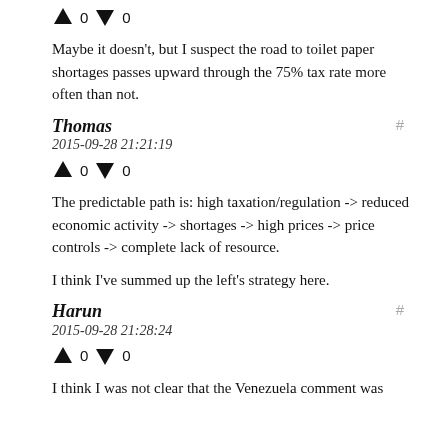[Figure (other): Vote arrows with counts: up arrow, 0, down arrow, 0]
Maybe it doesn't, but I suspect the road to toilet paper shortages passes upward through the 75% tax rate more often than not.
Thomas
2015-09-28 21:21:19
[Figure (other): Vote arrows with counts: up arrow, 0, down arrow, 0]
The predictable path is: high taxation/regulation -> reduced economic activity -> shortages -> high prices -> price controls -> complete lack of resource.
I think I've summed up the left's strategy here.
Harun
2015-09-28 21:28:24
[Figure (other): Vote arrows with counts: up arrow, 0, down arrow, 0]
I think I was not clear that the Venezuela comment was